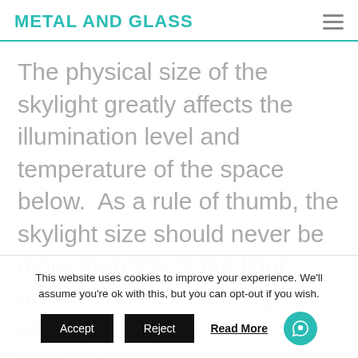METAL AND GLASS
The physical size of the skylight greatly affects the illumination level and temperature of the space below.  As a rule of thumb, the skylight size should never be more than 5% of the floor area in rooms with many windows and no more than 15% of the unventilated floor
This website uses cookies to improve your experience. We'll assume you're ok with this, but you can opt-out if you wish.
Accept | Reject | Read More